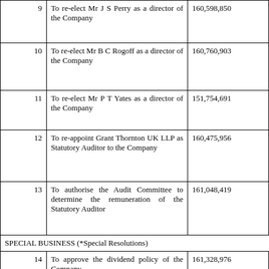|  | Resolution | Votes For |  |
| --- | --- | --- | --- |
| 9 | To re-elect Mr J S Perry as a director of the Company | 160,598,850 |  |
| 10 | To re-elect Mr B C Rogoff as a director of the Company | 160,760,903 |  |
| 11 | To re-elect Mr P T Yates as a director of the Company | 151,754,691 |  |
| 12 | To re-appoint Grant Thornton UK LLP as Statutory Auditor to the Company | 160,475,956 |  |
| 13 | To authorise the Audit Committee to determine the remuneration of the Statutory Auditor | 161,048,419 |  |
| SPECIAL BUSINESS (*Special Resolutions) |  |  |  |
| 14 | To approve the dividend policy of the Company | 161,328,976 |  |
| 15 | To authorise the directors | 160,895,129 |  |